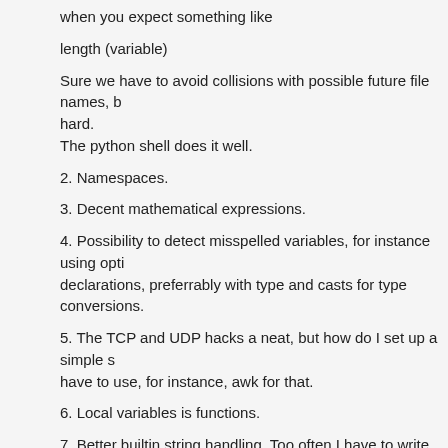when you expect something like
length (variable)
Sure we have to avoid collisions with possible future file names, but that's not hard.
The python shell does it well.
2. Namespaces.
3. Decent mathematical expressions.
4. Possibility to detect misspelled variables, for instance using optional declarations, preferrably with type and casts for type conversions.
5. The TCP and UDP hacks a neat, but how do I set up a simple s have to use, for instance, awk for that.
6. Local variables is functions.
7. Better builtin string handling. Too often I have to write something
mv $FILE $(echo $FILE | sed s/XXXX/YYYY/)
in order to rename a bunch of files. It usually works, but always lea something will go wrong.